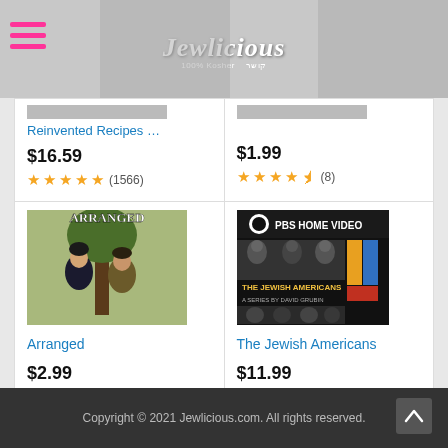Jewlicious — 100% Kosher
Reinvented Recipes ...
$16.59
(1566)
$1.99
(8)
[Figure (photo): Movie poster for Arranged — two women standing near a tree]
Arranged
$2.99
(539)
[Figure (photo): DVD cover for The Jewish Americans — PBS Home Video series by David Grubin]
The Jewish Americans
$11.99
(80)
Ads by Amazon
Copyright © 2021 Jewlicious.com. All rights reserved.